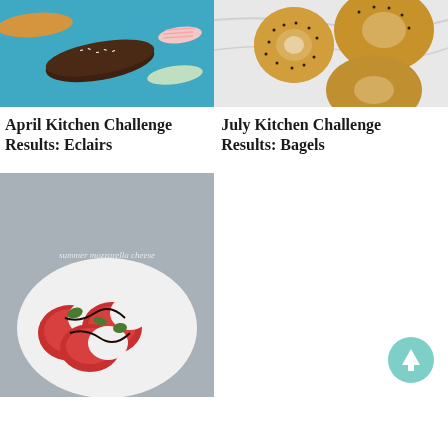[Figure (photo): Photo of eclairs with chocolate glaze and decorated icing on a blue background]
April Kitchen Challenge Results: Eclairs
[Figure (photo): Photo of bagels with poppy seeds on a marble surface]
July Kitchen Challenge Results: Bagels
[Figure (photo): Photo of caprese salad with tomatoes, mozzarella, basil and balsamic glaze on a white plate]
[Figure (other): Scroll to top button - teal circle with upward arrow]